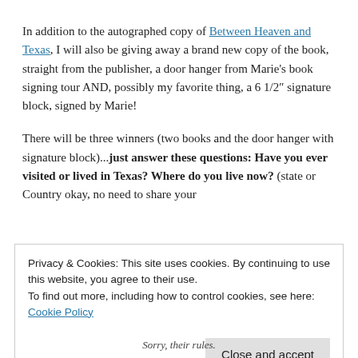In addition to the autographed copy of Between Heaven and Texas, I will also be giving away a brand new copy of the book, straight from the publisher, a door hanger from Marie's book signing tour AND, possibly my favorite thing, a 6 1/2″ signature block, signed by Marie!
There will be three winners (two books and the door hanger with signature block)...just answer these questions: Have you ever visited or lived in Texas? Where do you live now? (state or Country okay, no need to share your
Privacy & Cookies: This site uses cookies. By continuing to use this website, you agree to their use.
To find out more, including how to control cookies, see here: Cookie Policy
Close and accept
Sorry, their rules.